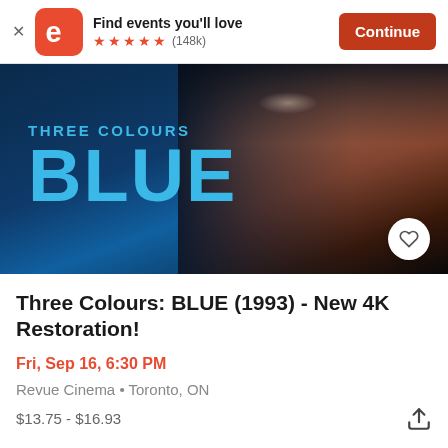Find events you'll love ★★★★★ (148k) Continue
[Figure (photo): Movie poster for Three Colours: BLUE (1993) showing a woman's face against a dark blue background with 'THREE COLOURS BLUE' text in cyan]
Three Colours: BLUE (1993) - New 4K Restoration!
Fri, Sep 16, 6:30 PM
Revue Cinema • Toronto, ON
$13.75 - $16.93